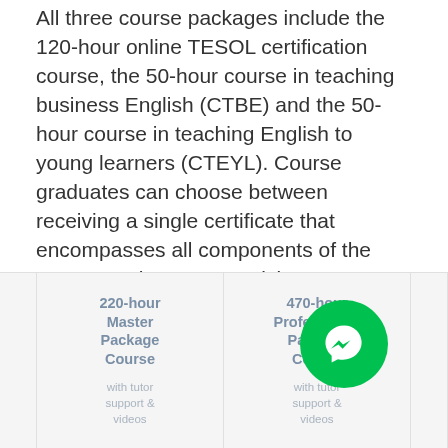All three course packages include the 120-hour online TESOL certification course, the 50-hour course in teaching business English (CTBE) and the 50-hour course in teaching English to young learners (CTEYL). Course graduates can choose between receiving a single certificate that encompasses all components of the course package, or receiving an individual certificate for each section completed.
[Figure (infographic): Row of course package cards partially visible. Card 1 (partial, left edge): blank grey card. Card 2: '220-hour Master Package Course with tutor support & videos'. Card 3: '470-hour Professional Package Course with tutor support & videos'. Card 4 (partial, right edge): partially visible grey card. A green Facebook Messenger badge overlays the bottom right area.]